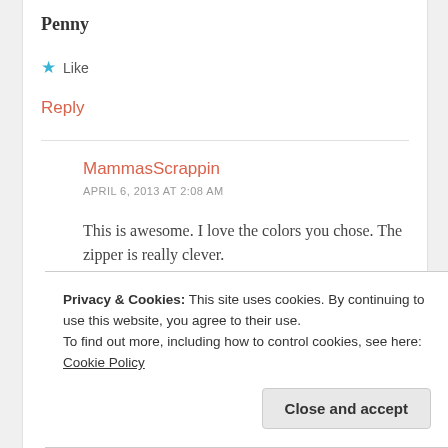Penny
★ Like
Reply
MammasScrappin
APRIL 6, 2013 AT 2:08 AM
This is awesome. I love the colors you chose. The zipper is really clever.
Privacy & Cookies: This site uses cookies. By continuing to use this website, you agree to their use.
To find out more, including how to control cookies, see here: Cookie Policy
Close and accept